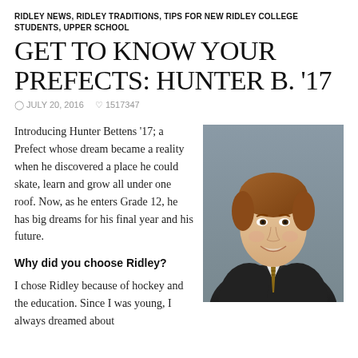RIDLEY NEWS, RIDLEY TRADITIONS, TIPS FOR NEW RIDLEY COLLEGE STUDENTS, UPPER SCHOOL
GET TO KNOW YOUR PREFECTS: HUNTER B. '17
JULY 20, 2016   1517347
Introducing Hunter Bettens '17; a Prefect whose dream became a reality when he discovered a place he could skate, learn and grow all under one roof. Now, as he enters Grade 12, he has big dreams for his final year and his future.
[Figure (photo): Headshot portrait of Hunter Bettens, a young man in a dark blazer and tie, smiling, with short reddish-brown hair, against a grey background.]
Why did you choose Ridley?
I chose Ridley because of hockey and the education. Since I was young, I always dreamed about